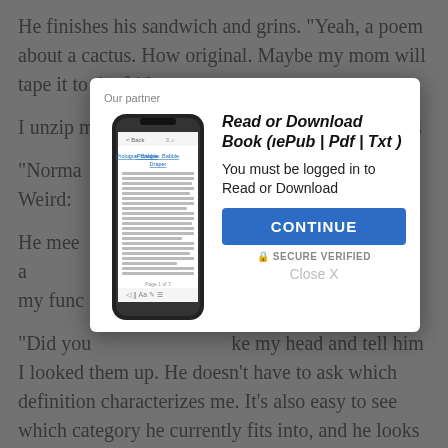He finishes his sandwich and grins. “Yeah, a poem about a cactus. How original. Maybe my mom will tape it to the fridge n…
I unzip my… notices… scoots closer s…
“Norma… be. Weird: O”
He mee… studies me for a… t of origin. I… ost of my func… om thought…
“Did you… ke my head and tell him I looked them up. He doesn’t have to ask which definition characterizes me. It’s also easy to see which category he currently fits into, and he looks insulted.
[Figure (screenshot): Modal popup overlay showing a smartphone displaying an e-book, with title 'Read or Download Book (ıePub | Pdf | Txt)', login prompt, Continue button, Secure Verified text, and Close X link. Header reads 'Our partner'.]